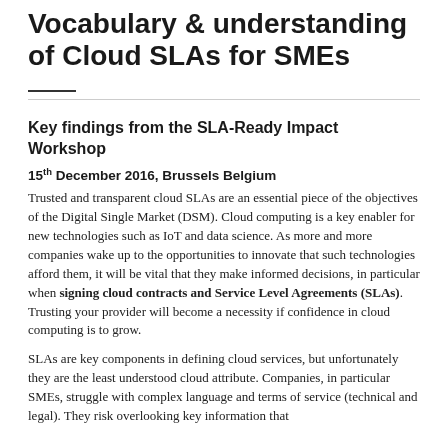Vocabulary & understanding of Cloud SLAs for SMEs
Key findings from the SLA-Ready Impact Workshop
15th December 2016, Brussels Belgium
Trusted and transparent cloud SLAs are an essential piece of the objectives of the Digital Single Market (DSM). Cloud computing is a key enabler for new technologies such as IoT and data science. As more and more companies wake up to the opportunities to innovate that such technologies afford them, it will be vital that they make informed decisions, in particular when signing cloud contracts and Service Level Agreements (SLAs). Trusting your provider will become a necessity if confidence in cloud computing is to grow.
SLAs are key components in defining cloud services, but unfortunately they are the least understood cloud attribute. Companies, in particular SMEs, struggle with complex language and terms of service (technical and legal). They risk overlooking key information that